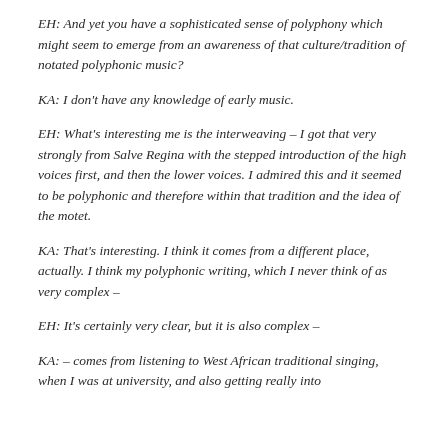EH: And yet you have a sophisticated sense of polyphony which might seem to emerge from an awareness of that culture/tradition of notated polyphonic music?
KA: I don't have any knowledge of early music.
EH: What's interesting me is the interweaving – I got that very strongly from Salve Regina with the stepped introduction of the high voices first, and then the lower voices. I admired this and it seemed to be polyphonic and therefore within that tradition and the idea of the motet.
KA: That's interesting. I think it comes from a different place, actually. I think my polyphonic writing, which I never think of as very complex –
EH: It's certainly very clear, but it is also complex –
KA: – comes from listening to West African traditional singing, when I was at university, and also getting really into